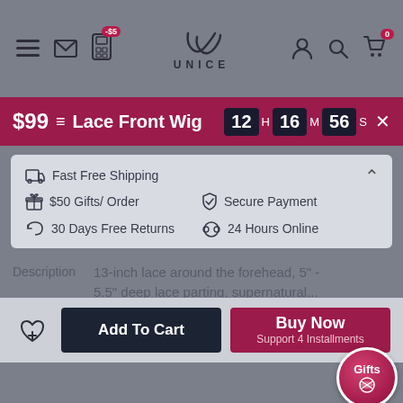UNICE — navigation header with menu, mail, app ($-5), logo, account, search, cart (0)
$99 = Lace Front Wig  12 H 16 M 56 S ×
Fast Free Shipping
$50 Gifts/ Order    Secure Payment
30 Days Free Returns    24 Hours Online
Description   13-inch lace around the forehead, 5" - 5.5" deep lace parting, supernatural...
★★★★★ 5   View 5 Reviews >
♡+   Add To Cart   Buy Now  Support 4 Installments